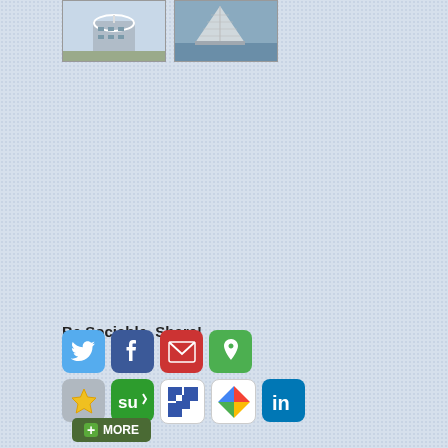[Figure (photo): Two photos of Dubai architecture: left shows a structure with a satellite dish/dome (possibly Jumeirah Beach Hotel or similar), right shows the Burj Al Arab hotel from a distance near the sea]
Be Sociable, Share!
[Figure (infographic): Row 1: Twitter (blue bird), Facebook (blue f), Email/Gmail (red envelope), Pinterest-like (green pin). Row 2: Favorites/Star (gray star), StumbleUpon (green SU), Delicious (blue/white squares), Google+ (multicolor), LinkedIn (blue in)]
+ MORE